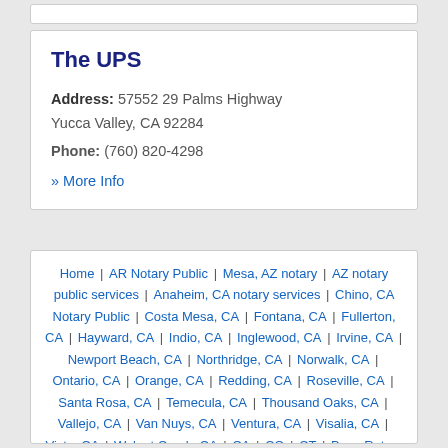The UPS
Address: 57552 29 Palms Highway Yucca Valley, CA 92284
Phone: (760) 820-4298
» More Info
Home | AR Notary Public | Mesa, AZ notary | AZ notary public services | Anaheim, CA notary services | Chino, CA Notary Public | Costa Mesa, CA | Fontana, CA | Fullerton, CA | Hayward, CA | Indio, CA | Inglewood, CA | Irvine, CA | Newport Beach, CA | Northridge, CA | Norwalk, CA | Ontario, CA | Orange, CA | Redding, CA | Roseville, CA | Santa Rosa, CA | Temecula, CA | Thousand Oaks, CA | Vallejo, CA | Van Nuys, CA | Ventura, CA | Visalia, CA | Vista, CA | Walnut Creek, CA | CA | CO | CT | Boca Raton, FL | Boynton Beach, FL |